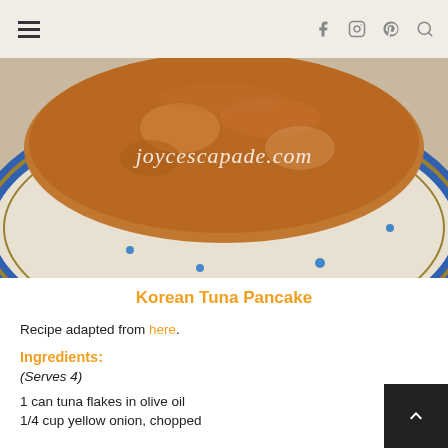≡ | f 📷 p 🔍
[Figure (photo): Close-up photo of a Korean tuna pancake on a decorative plate with blue and gold floral border. Watermark text reads joycescapade.com]
Korean Tuna Pancake
Recipe adapted from here.
Ingredients:
(Serves 4)
1 can tuna flakes in olive oil
1/4 cup yellow onion, chopped